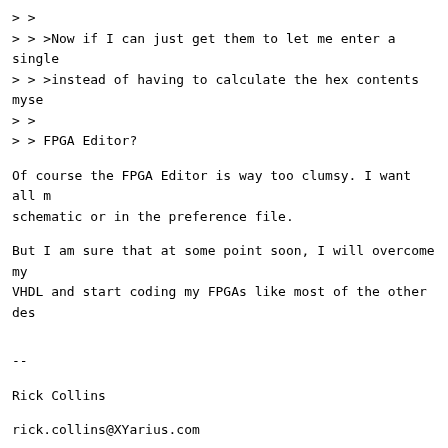> >
> > >Now if I can just get them to let me enter a single
> > >instead of having to calculate the hex contents myse
> >
> > FPGA Editor?
Of course the FPGA Editor is way too clumsy. I want all m schematic or in the preference file.
But I am sure that at some point soon, I will overcome my VHDL and start coding my FPGAs like most of the other des
--
Rick Collins
rick.collins@XYarius.com
Ignore the reply address. To email me use the above addre removed.
Arius - A Signal Processing Solutions Company
Specializing in DSP and FPGA design
Arius
4 King Ave
Frederick, MD 21701-3110
301-698-7778 Main